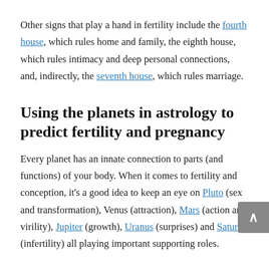Other signs that play a hand in fertility include the fourth house, which rules home and family, the eighth house, which rules intimacy and deep personal connections, and, indirectly, the seventh house, which rules marriage.
Using the planets in astrology to predict fertility and pregnancy
Every planet has an innate connection to parts (and functions) of your body. When it comes to fertility and conception, it's a good idea to keep an eye on Pluto (sex and transformation), Venus (attraction), Mars (action and virility), Jupiter (growth), Uranus (surprises) and Saturn (infertility) all playing important supporting roles.